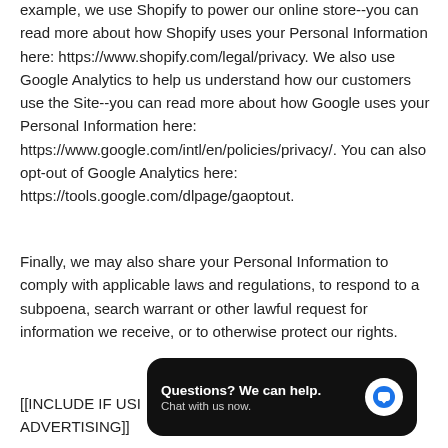example, we use Shopify to power our online store--you can read more about how Shopify uses your Personal Information here: https://www.shopify.com/legal/privacy. We also use Google Analytics to help us understand how our customers use the Site--you can read more about how Google uses your Personal Information here: https://www.google.com/intl/en/policies/privacy/. You can also opt-out of Google Analytics here: https://tools.google.com/dlpage/gaoptout.
Finally, we may also share your Personal Information to comply with applicable laws and regulations, to respond to a subpoena, search warrant or other lawful request for information we receive, or to otherwise protect our rights.
[[INCLUDE IF USING TARGETED ADVERTISING]]